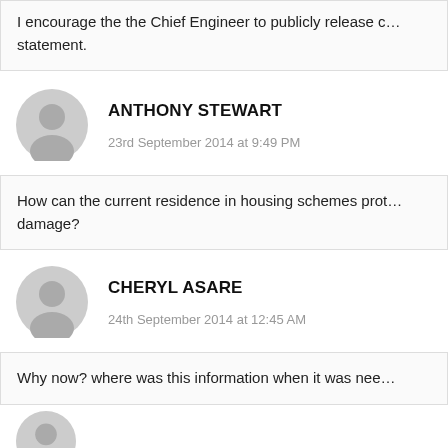I encourage the the Chief Engineer to publicly release c... statement.
ANTHONY STEWART   23rd September 2014 at 9:49 PM
How can the current residence in housing schemes prot... damage?
CHERYL ASARE   24th September 2014 at 12:45 AM
Why now? where was this information when it was nee...
PETER BLACE